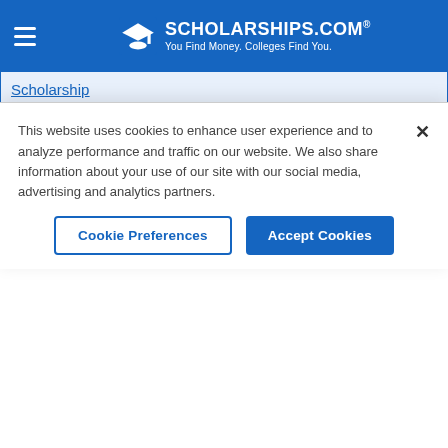[Figure (logo): Scholarships.com logo with graduation cap icon, tagline: You Find Money. Colleges Find You.]
| Scholarship | Amount | Deadline |
| --- | --- | --- |
| FTE Fellowships for Doctoral Students of African Descent | Varies | 02/01/2023 |
| GCFM Horticulture Scholarship | Varies | 02/01/2023 |
| HIAS Chicago Graduate Scholarship | Varies | 02/01/2023 |
| Hope College Distinguished | $12,000 | 02/01/2023 |
This website uses cookies to enhance user experience and to analyze performance and traffic on our website. We also share information about your use of our site with our social media, advertising and analytics partners.
Cookie Preferences | Accept Cookies